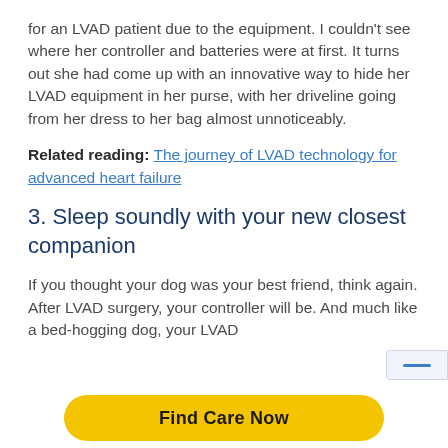for an LVAD patient due to the equipment. I couldn't see where her controller and batteries were at first. It turns out she had come up with an innovative way to hide her LVAD equipment in her purse, with her driveline going from her dress to her bag almost unnoticeably.
Related reading: The journey of LVAD technology for advanced heart failure
3. Sleep soundly with your new closest companion
If you thought your dog was your best friend, think again. After LVAD surgery, your controller will be. And much like a bed-hogging dog, your LVAD
Find Care Now